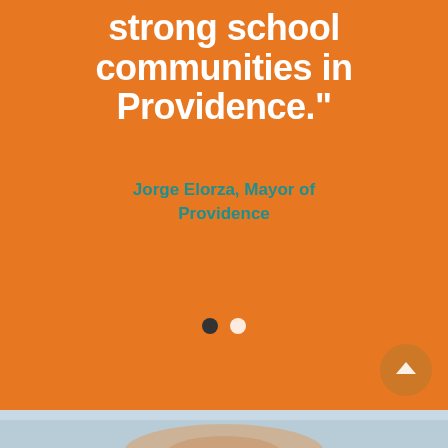strong school communities in Providence."
Jorge Elorza, Mayor of Providence
[Figure (photo): Navigation dots (one filled dark, one white) indicating a slideshow or carousel position, on an orange background]
[Figure (photo): Partial photo of a woman visible at the very bottom of the page, shown from roughly the shoulders up, with a blurred indoor background]